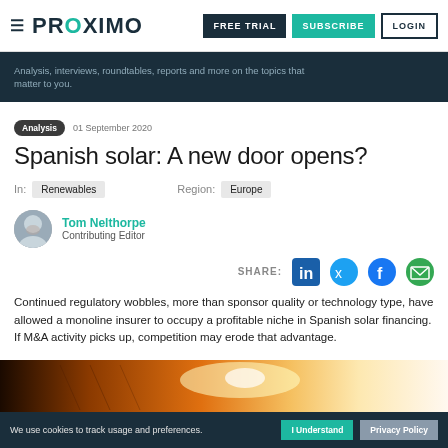PROXIMO — FREE TRIAL | SUBSCRIBE | LOGIN
Analysis, interviews, roundtables, reports and more on the topics that matter to you.
Analysis  01 September 2020
Spanish solar: A new door opens?
In: Renewables   Region: Europe
Tom Nelthorpe
Contributing Editor
SHARE:
Continued regulatory wobbles, more than sponsor quality or technology type, have allowed a monoline insurer to occupy a profitable niche in Spanish solar financing. If M&A activity picks up, competition may erode that advantage.
[Figure (photo): Photograph of solar panels / bright light, used as article hero image]
We use cookies to track usage and preferences.  I Understand  Privacy Policy